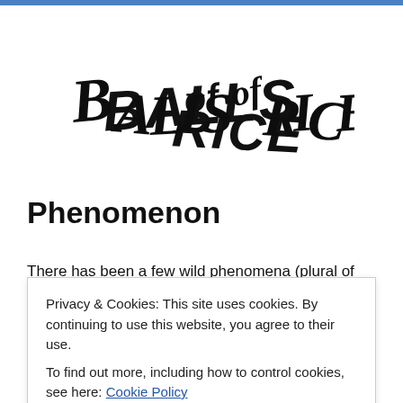[Figure (logo): Handwritten-style logo reading 'BALLS of RICE' in rough, angular hand-lettered black text on white background]
Phenomenon
There has been a few wild phenomena (plural of
[Figure (screenshot): Cookie consent banner: 'Privacy & Cookies: This site uses cookies. By continuing to use this website, you agree to their use. To find out more, including how to control cookies, see here: Cookie Policy' with a 'Close and accept' button]
may rain sometimes, but not often.. Something is